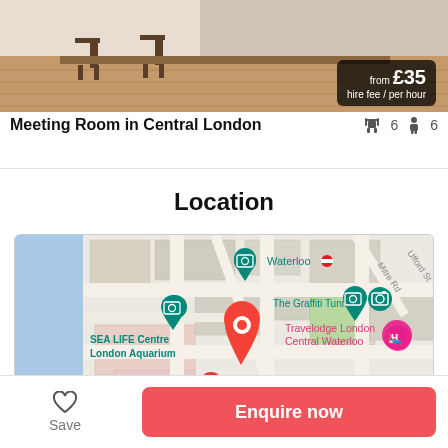[Figure (photo): Interior photo of a meeting room with wooden floor and furniture, showing stools/chairs near a counter. Price overlay reads 'from £35 hire fee / per hour'.]
Meeting Room in Central London  🪑6  🚶6
Location
[Figure (map): Google Maps view near Waterloo, London showing SEA LIFE Centre London Aquarium, The Graffiti Tunnel, Travelodge London Central Waterloo, St Thomas' Hospital, and a red location pin marker.]
Save | Enquire now